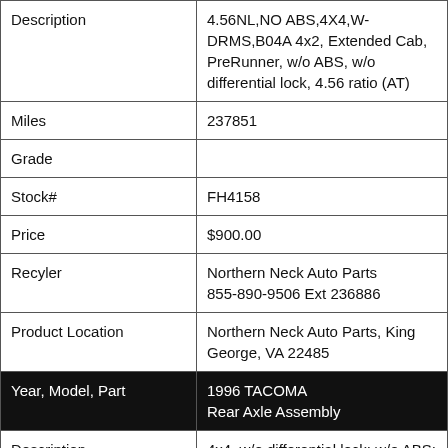| Field | Value |
| --- | --- |
| Description | 4.56NL,NO ABS,4X4,W-DRMS,B04A 4x2, Extended Cab, PreRunner, w/o ABS, w/o differential lock, 4.56 ratio (AT) |
| Miles | 237851 |
| Grade |  |
| Stock# | FH4158 |
| Price | $900.00 |
| Recyler | Northern Neck Auto Parts
855-890-9506 Ext 236886 |
| Product Location | Northern Neck Auto Parts, King George, VA 22485 |
| Year, Model, Part | 1996 TACOMA
Rear Axle Assembly |
| Description | 4x4, w/o differential lock; w/o ABS; 4 c 4x2, Extended Cab, PreRunner, w/o ABS, w/o differential lock, 4.56 ratio (AT) |
| Miles | 231000 |